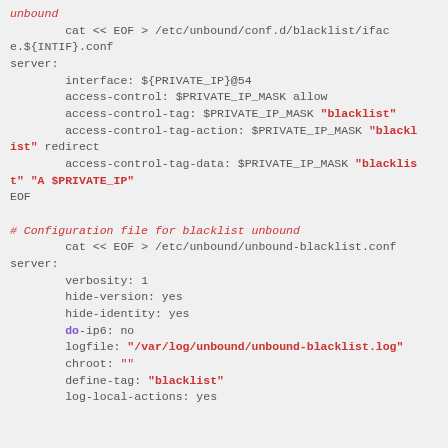unbound shell script code block showing configuration file generation for blacklist unbound with server settings